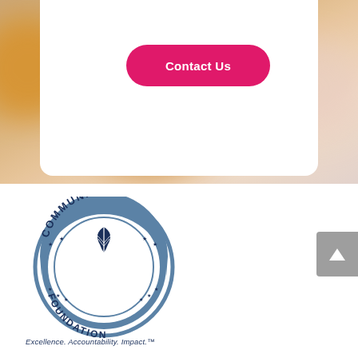[Figure (photo): Blurred background showing food bowls with orange/tan contents, partially covered by a white card overlay]
your request.
Contact Us
[Figure (logo): Community Accredited Foundation circular seal badge in blue/navy colors with leaf emblem and stars]
Excellence. Accountability. Impact.™